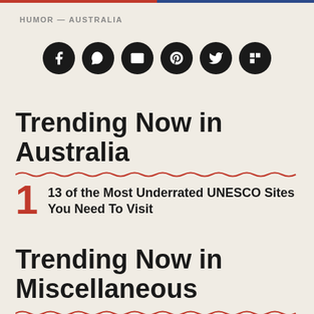HUMOR — AUSTRALIA
[Figure (infographic): Six black circular social media icons: Facebook, WhatsApp, Email, Pinterest, Twitter, Flipboard]
Trending Now in Australia
1  13 of the Most Underrated UNESCO Sites You Need To Visit
Trending Now in Miscellaneous